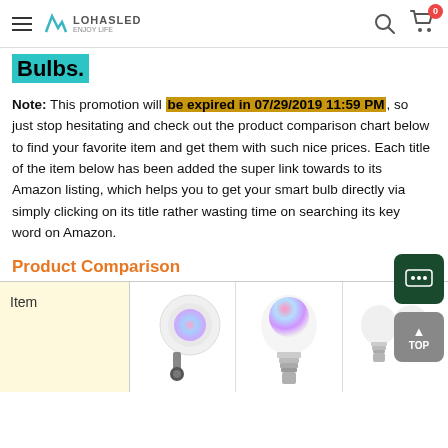LOHASLED logo, search icon, cart with badge 0
Bulbs.
Note: This promotion will be expired in 07/29/2019 11:59 PM, so just stop hesitating and check out the product comparison chart below to find your favorite item and get them with such nice prices. Each title of the item below has been added the super link towards to its Amazon listing, which helps you to get your smart bulb directly via simply clicking on its title rather wasting time on searching its key word on Amazon.
Product Comparison
| Item |  |  |  |
| --- | --- | --- | --- |
|  |  |  |  |